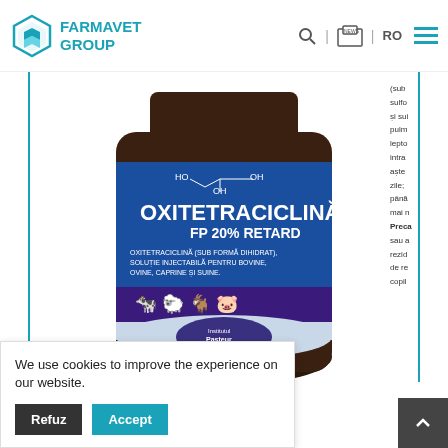FARMAVET GROUP | RO
[Figure (photo): A bottle of Oxitetraciclina FP 20% Retard injectable solution for bovines, ovines, caprines and swine, manufactured by Institutul Pasteur Romania. The blue label shows the product name in large white letters and animal icons.]
treatment of gastrointestinal, pulmonary
s, pododermatitis
We use cookies to improve the experience on our website.